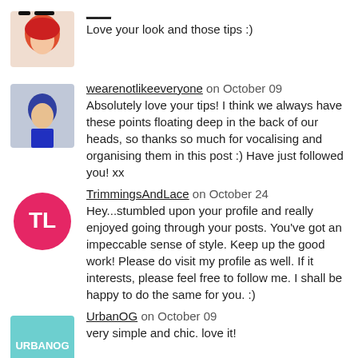Love your look and those tips :)
wearenotlikeeveryone on October 09
Absolutely love your tips! I think we always have these points floating deep in the back of our heads, so thanks so much for vocalising and organising them in this post :) Have just followed you! xx
TrimmingsAndLace on October 24
Hey...stumbled upon your profile and really enjoyed going through your posts. You've got an impeccable sense of style. Keep up the good work! Please do visit my profile as well. If it interests, please feel free to follow me. I shall be happy to do the same for you. :)
UrbanOG on October 09
very simple and chic. love it!
misstheo on October 08
cute
JessTheGrrl on October 07
love your dress!
theurbantotebag on October 05